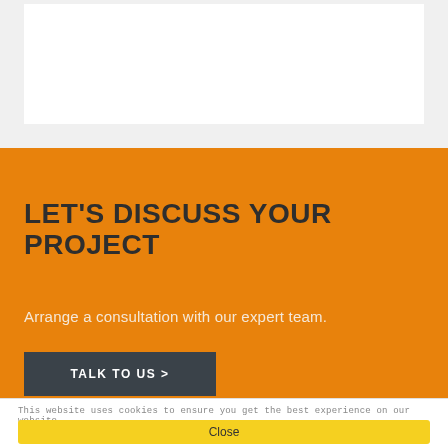[Figure (screenshot): Top gray section with white content box above the fold]
LET'S DISCUSS YOUR PROJECT
Arrange a consultation with our expert team.
TALK TO US >
This website uses cookies to ensure you get the best experience on our website
Close